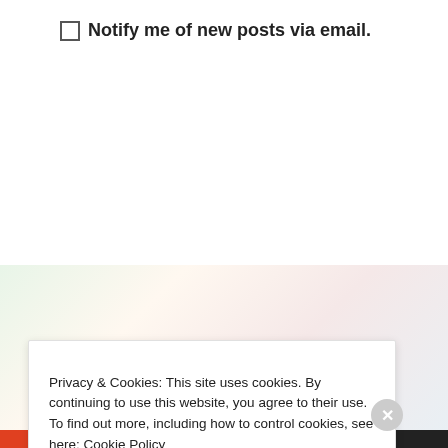Notify me of new posts via email.
[Figure (other): WordPress Follow button for Mr. Ohhl's Sideways View with follower count 346]
RECENT POSTS
Privacy & Cookies: This site uses cookies. By continuing to use this website, you agree to their use.
To find out more, including how to control cookies, see here: Cookie Policy
Close and accept